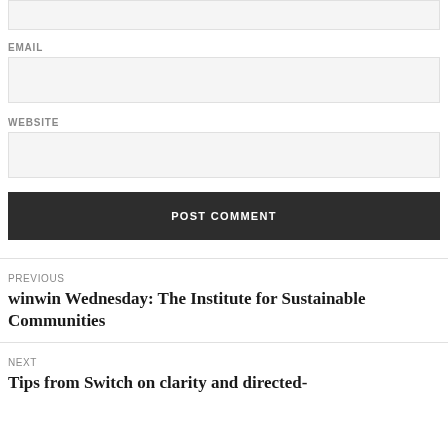EMAIL
WEBSITE
POST COMMENT
PREVIOUS
winwin Wednesday: The Institute for Sustainable Communities
NEXT
Tips from Switch on clarity and directed-